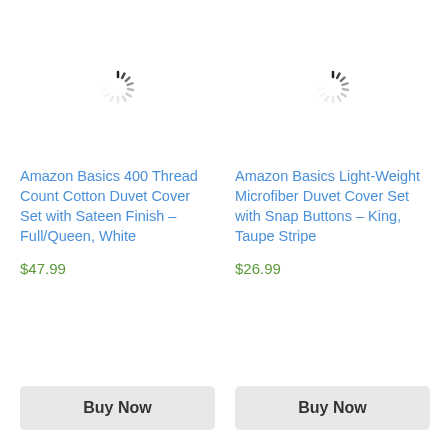[Figure (other): Loading spinner (animated spinner icon indicating image is loading) for product 1]
Amazon Basics 400 Thread Count Cotton Duvet Cover Set with Sateen Finish – Full/Queen, White
$47.99
Buy Now
[Figure (other): Loading spinner (animated spinner icon indicating image is loading) for product 2]
Amazon Basics Light-Weight Microfiber Duvet Cover Set with Snap Buttons – King, Taupe Stripe
$26.99
Buy Now